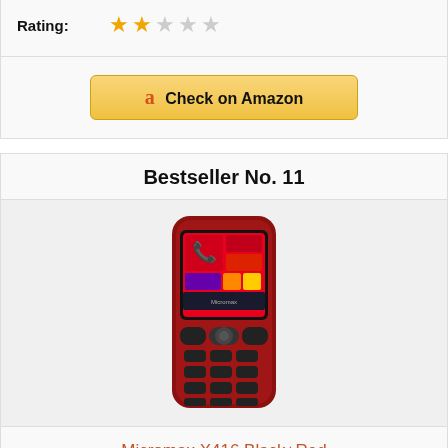Rating:
[Figure (other): Star rating showing 2 out of 5 stars (2 filled gold stars, 1 half, 2 empty)]
Check on Amazon
Bestseller No. 11
[Figure (photo): Micromax X416 Black+Red feature phone with colorful tile-style display]
Micromax X416 Black+Red
Rating: No ratings yet
Check on Amazon